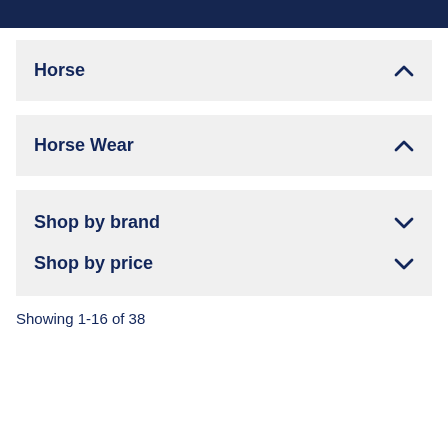Horse ∧
Horse Wear ∧
Shop by brand ∨
Shop by price ∨
Showing 1-16 of 38